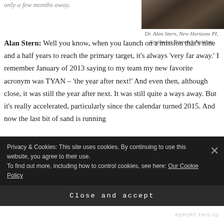only a few months away.
[Figure (photo): Portrait photo of Dr. Alan Stern, partially visible, dark background]
Dr. Alan Stern, New Horizons PI, Southwest Research Institute
Alan Stern: Well you know, when you launch on a mission that's nine and a half years to reach the primary target, it's always 'very far away.' I remember January of 2013 saying to my team my new favorite acronym was TYAN – 'the year after next!' And even then, although close, it was still the year after next. It was still quite a ways away. But it's really accelerated, particularly since the calendar turned 2015. And now the last bit of sand is running
Privacy & Cookies: This site uses cookies. By continuing to use this website, you agree to their use.
To find out more, including how to control cookies, see here: Our Cookie Policy
Close and accept
REPORT THIS AD